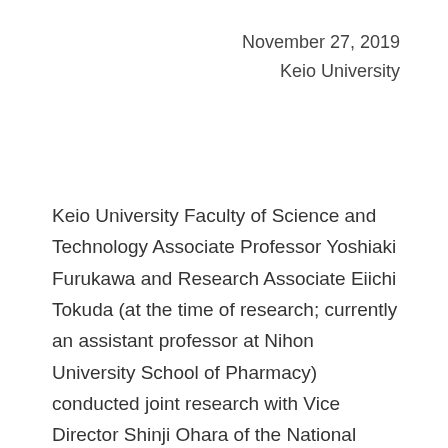November 27, 2019
Keio University
Keio University Faculty of Science and Technology Associate Professor Yoshiaki Furukawa and Research Associate Eiichi Tokuda (at the time of research; currently an assistant professor at Nihon University School of Pharmacy) conducted joint research with Vice Director Shinji Ohara of the National